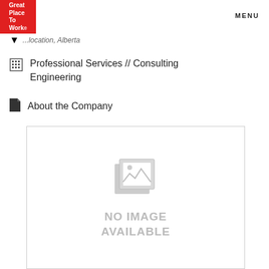Great Place To Work® | MENU
...location, Alberta
Professional Services // Consulting Engineering
About the Company
[Figure (illustration): No image available placeholder with grayed-out image icon and text 'NO IMAGE AVAILABLE']